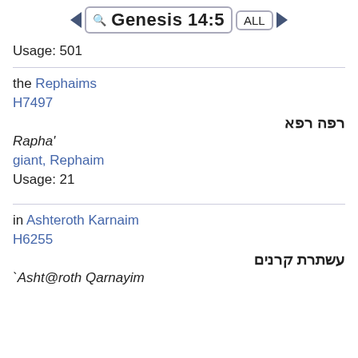Genesis 14:5
Usage: 501
the Rephaims
H7497
רפה רפא
Rapha'
giant, Rephaim
Usage: 21
in Ashteroth Karnaim
H6255
עשתרת קרנים
`Asht@roth Qarnayim